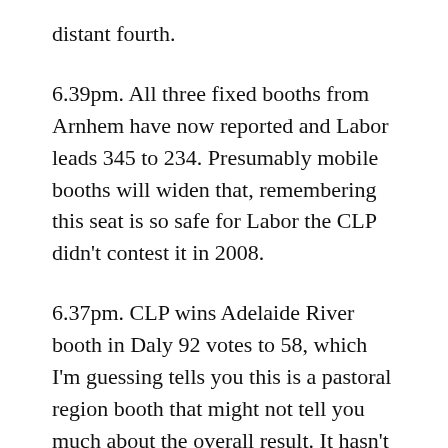distant fourth.
6.39pm. All three fixed booths from Arnhem have now reported and Labor leads 345 to 234. Presumably mobile booths will widen that, remembering this seat is so safe for Labor the CLP didn’t contest it in 2008.
6.37pm. CLP wins Adelaide River booth in Daly 92 votes to 58, which I’m guessing tells you this is a pastoral region booth that might not tell you much about the overall result. It hasn’t been a booth in the past, so again no swing can be determined.
6.35pm. Two booths in from safe Labor remote